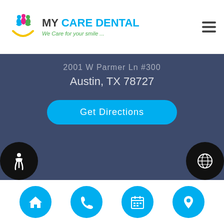MY CARE DENTAL — We Care for your smile...
2001 W Parmer Ln #300
Austin, TX 78727
Get Directions
Book Today!
(512) 590-6634
Request Appointment